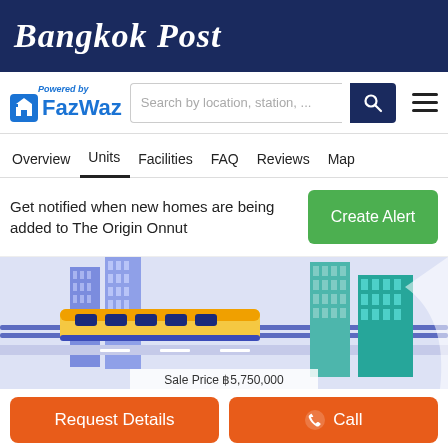Bangkok Post
[Figure (logo): FazWaz logo with 'Powered by' text, search bar, and hamburger menu]
Overview  Units  Facilities  FAQ  Reviews  Map
Get notified when new homes are being added to The Origin Onnut
Create Alert
[Figure (illustration): Isometric illustration of a city with buildings and a train/BTS skytrain, with a partial 'Sale Price ฿5,750,000' strip at the bottom]
Request Details
Call